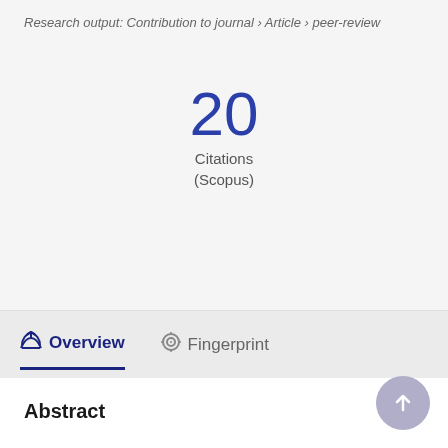Research output: Contribution to journal › Article › peer-review
20
Citations
(Scopus)
Overview
Fingerprint
Abstract